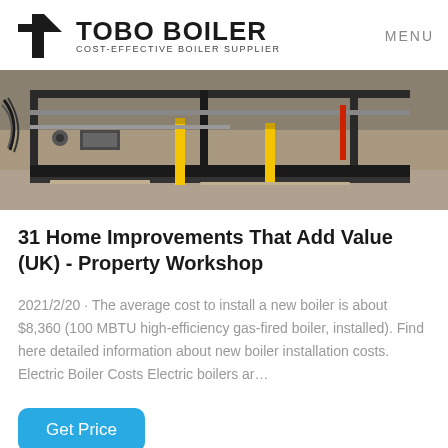TOBO BOILER COST-EFFECTIVE BOILER SUPPLIER MENU
[Figure (photo): Industrial boiler equipment photograph showing metal structures, yellow safety poles, pipes and machinery in a workshop or industrial setting]
31 Home Improvements That Add Value (UK) - Property Workshop
2021/2/20 · The average cost to install a new boiler is about $8,360 (100 MBTU high-efficiency gas-fired boiler, installed). Find here detailed information about new boiler installation costs. Electric Boiler Costs Electric boilers ar…
Get Price